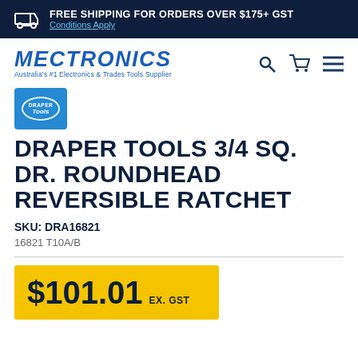FREE SHIPPING FOR ORDERS OVER $175+ GST
Conditions Apply
[Figure (logo): Mectronics logo - Australia's #1 Electronics & Trades Tools Supplier with search, cart, and menu icons]
[Figure (logo): Draper Tools brand logo - blue square with oval border containing DRAPER Tools text]
DRAPER TOOLS 3/4 SQ. DR. ROUNDHEAD REVERSIBLE RATCHET
SKU: DRA16821
16821 T10A/B
$101.01 EX. GST